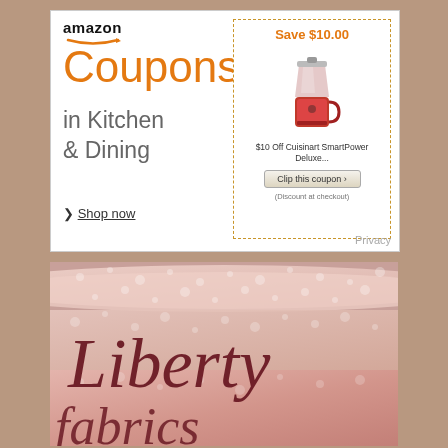[Figure (screenshot): Amazon Coupons advertisement for Kitchen & Dining with a Save $10.00 coupon for Cuisinart SmartPower Deluxe blender and a Clip this coupon button]
[Figure (photo): Liberty fabrics image showing pink floral fabric rolls with cursive script text reading 'Liberty fabrics']